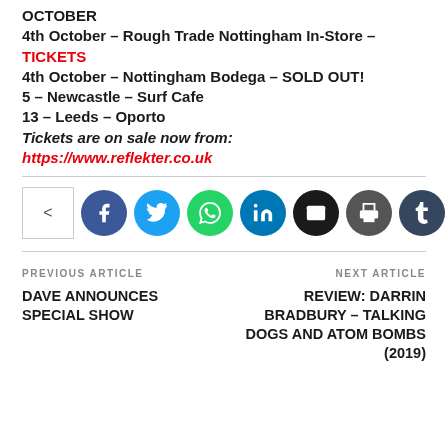OCTOBER
4th October – Rough Trade Nottingham In-Store – TICKETS
4th October – Nottingham Bodega – SOLD OUT!
5 – Newcastle – Surf Cafe
13 – Leeds – Oporto
Tickets are on sale now from: https://www.reflekter.co.uk
[Figure (infographic): Social share button bar with share icon box, and circular icons for Facebook, Twitter, WhatsApp, LinkedIn, Email, Print, and Tumblr]
PREVIOUS ARTICLE
DAVE ANNOUNCES SPECIAL SHOW
NEXT ARTICLE
REVIEW: DARRIN BRADBURY – TALKING DOGS AND ATOM BOMBS (2019)